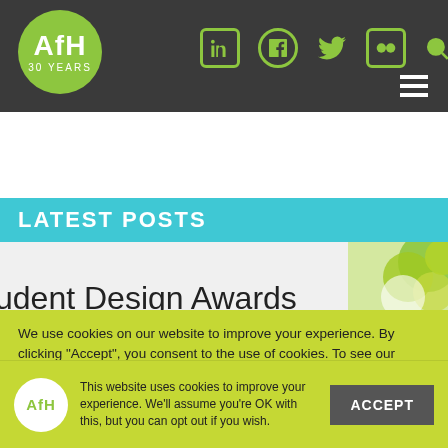AfH 30 YEARS — navigation header with social icons and hamburger menu
LATEST POSTS
[Figure (screenshot): Post preview image showing partial text 'udent Design Awards' with a yellow flower/plant image on the right]
We use cookies on our website to improve your experience. By clicking "Accept", you consent to the use of cookies. To see our Cookie & Privacy Policy please READ MORE
This website uses cookies to improve your experience. We'll assume you're OK with this, but you can opt out if you wish.